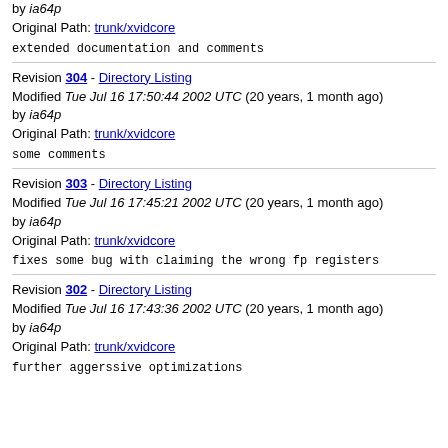by ia64p
Original Path: trunk/xvidcore
extended documentation and comments
Revision 304 - Directory Listing
Modified Tue Jul 16 17:50:44 2002 UTC (20 years, 1 month ago)
by ia64p
Original Path: trunk/xvidcore
some comments
Revision 303 - Directory Listing
Modified Tue Jul 16 17:45:21 2002 UTC (20 years, 1 month ago)
by ia64p
Original Path: trunk/xvidcore
fixes some bug with claiming the wrong fp registers
Revision 302 - Directory Listing
Modified Tue Jul 16 17:43:36 2002 UTC (20 years, 1 month ago)
by ia64p
Original Path: trunk/xvidcore
further aggerssive optimizations